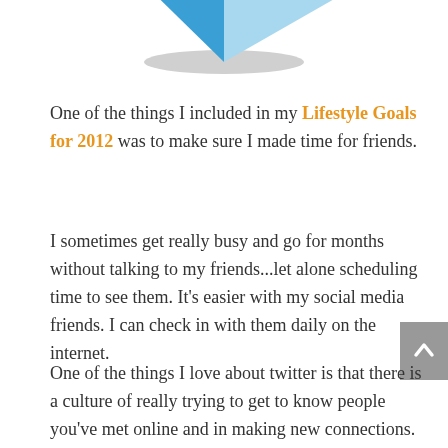[Figure (illustration): Partial view of a pie or donut chart with blue segments and a gray elliptical shadow beneath it, cropped at the top of the page.]
One of the things I included in my Lifestyle Goals for 2012 was to make sure I made time for friends.
I sometimes get really busy and go for months without talking to my friends...let alone scheduling time to see them. It's easier with my social media friends. I can check in with them daily on the internet.
One of the things I love about twitter is that there is a culture of really trying to get to know people you've met online and in making new connections. One way that it happens is by